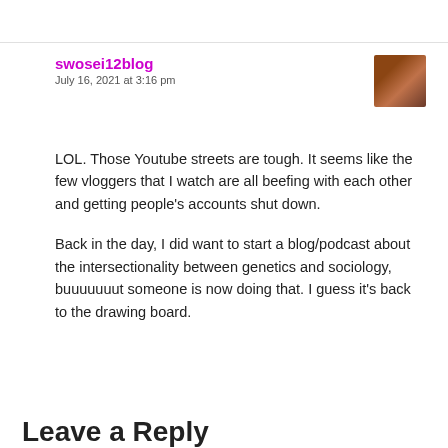swosei12blog
July 16, 2021 at 3:16 pm
LOL. Those Youtube streets are tough. It seems like the few vloggers that I watch are all beefing with each other and getting people’s accounts shut down.
Back in the day, I did want to start a blog/podcast about the intersectionality between genetics and sociology, buuuuuuut someone is now doing that. I guess it’s back to the drawing board.
Leave a Reply